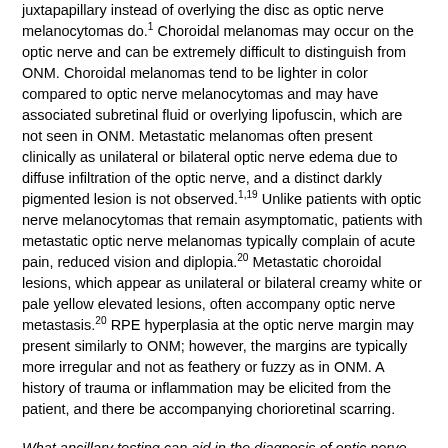juxtapapillary instead of overlying the disc as optic nerve melanocytomas do.1 Choroidal melanomas may occur on the optic nerve and can be extremely difficult to distinguish from ONM. Choroidal melanomas tend to be lighter in color compared to optic nerve melanocytomas and may have associated subretinal fluid or overlying lipofuscin, which are not seen in ONM. Metastatic melanomas often present clinically as unilateral or bilateral optic nerve edema due to diffuse infiltration of the optic nerve, and a distinct darkly pigmented lesion is not observed.1,19 Unlike patients with optic nerve melanocytomas that remain asymptomatic, patients with metastatic optic nerve melanomas typically complain of acute pain, reduced vision and diplopia.20 Metastatic choroidal lesions, which appear as unilateral or bilateral creamy white or pale yellow elevated lesions, often accompany optic nerve metastasis.20 RPE hyperplasia at the optic nerve margin may present similarly to ONM; however, the margins are typically more irregular and not as feathery or fuzzy as in ONM. A history of trauma or inflammation may be elicited from the patient, and there be accompanying chorioretinal scarring.
What ancillary testing can aid in the diagnosis of optic nerve melanocytoma?
Ancillary testing is not necessary for diagnosing ONM as the